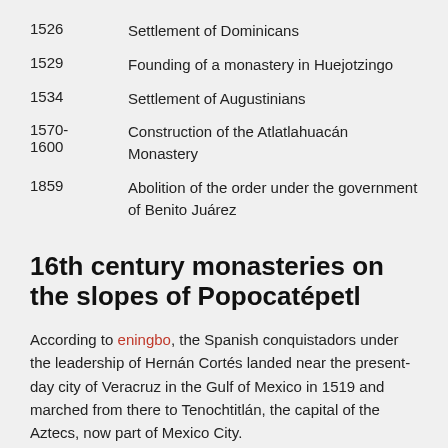1526   Settlement of Dominicans
1529   Founding of a monastery in Huejotzingo
1534   Settlement of Augustinians
1570-1600   Construction of the Atlatlahuacán Monastery
1859   Abolition of the order under the government of Benito Juárez
16th century monasteries on the slopes of Popocatépetl
According to eningbo, the Spanish conquistadors under the leadership of Hernán Cortés landed near the present-day city of Veracruz in the Gulf of Mexico in 1519 and marched from there to Tenochtitlán, the capital of the Aztecs, now part of Mexico City.